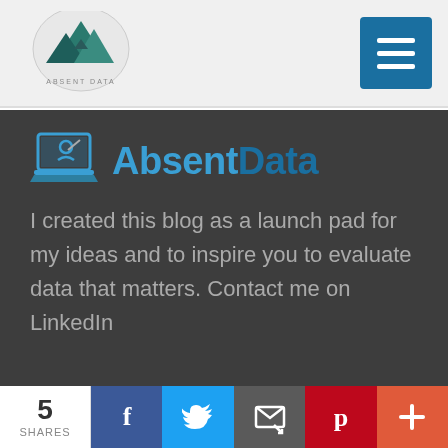[Figure (logo): Absent Data mountain/triangle logo with text 'ABSENT DATA' below]
[Figure (other): Blue hamburger menu button with three horizontal white lines]
[Figure (logo): AbsentData logo: laptop icon with 'AbsentData' text in blue tones]
I created this blog as a launch pad for my ideas and to inspire you to evaluate data that matters. Contact me on LinkedIn
5 SHARES
[Figure (other): Facebook share button (blue with f icon)]
[Figure (other): Twitter share button (light blue with bird icon)]
[Figure (other): Email share button (grey with envelope icon)]
[Figure (other): Pinterest share button (red with P icon)]
[Figure (other): More share button (orange-red with plus icon)]